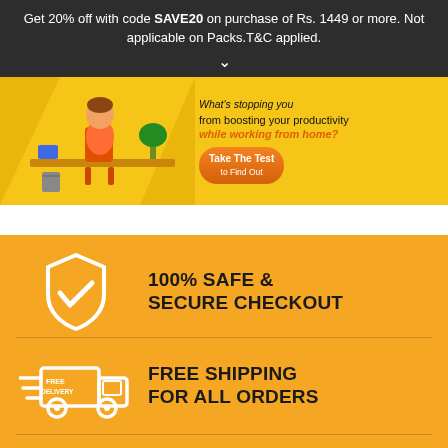Get 20% off with code SAVE20 on purchase of Rs. 1449 or more. Not applicable on Packs.T&C applied.
[Figure (illustration): Promotional banner showing a person working at a desk with text 'What's stopping you from boosting your productivity while working from home?' and an orange 'Take The Test to Find Out' button on a yellow background.]
100% SAFE & SECURE CHECKOUT
FREE SHIPPING FOR ALL ORDERS
PHONE & EMAIL CUSTOMER SUPPORT